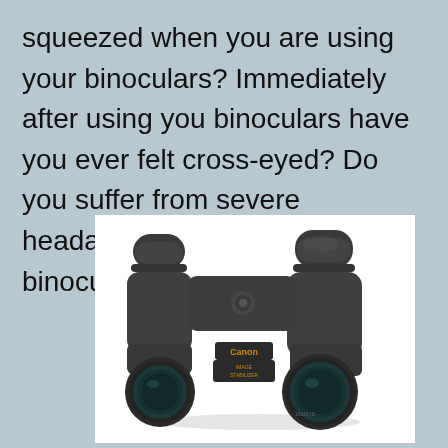squeezed when you are using your binoculars? Immediately after using you binoculars have you ever felt cross-eyed? Do you suffer from severe headaches after using binoculars for long?
[Figure (photo): A Canon Image Stabilizer binoculars photographed on a white background, showing the front/bottom view with two large objective lenses visible, dark grey/black body with Canon branding and Image Stabilizer label.]